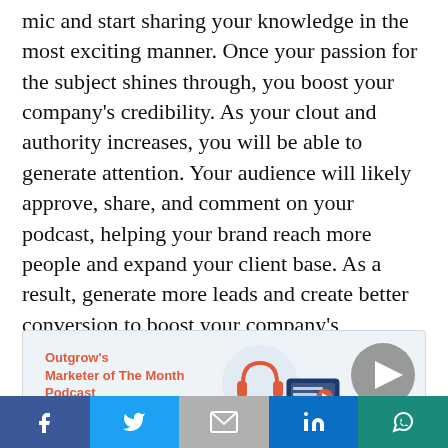mic and start sharing your knowledge in the most exciting manner. Once your passion for the subject shines through, you boost your company's credibility. As your clout and authority increases, you will be able to generate attention. Your audience will likely approve, share, and comment on your podcast, helping your brand reach more people and expand your client base. As a result, generate more leads and create better conversion to boost your company's profitability.
[Figure (screenshot): Outgrow's Marketer of The Month Podcast card with headphones and monitor illustration, and a grey play button circle in the top right corner.]
Facebook | Twitter | Gmail | LinkedIn | WhatsApp social share buttons